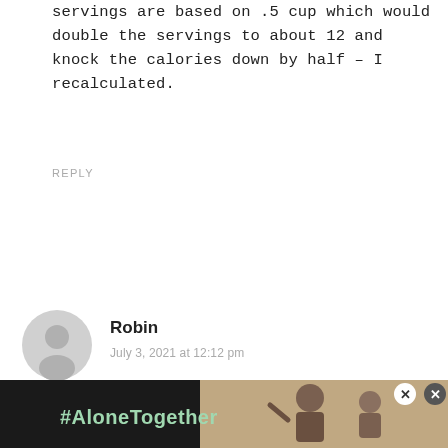servings are based on .5 cup which would double the servings to about 12 and knock the calories down by half – I recalculated.
REPLY
[Figure (illustration): Gray circular avatar icon with silhouette of a person]
Robin
July 3, 2021 at 12:12 pm
★★★★★
This is without a doubt the best ice cream my husband has ever had. He is a huge toffee lover and this recipe was so easy to make! I am not fond of toffee...going to
[Figure (photo): Ad banner with #AloneTogether hashtag text on dark background and photo of a man and child waving]